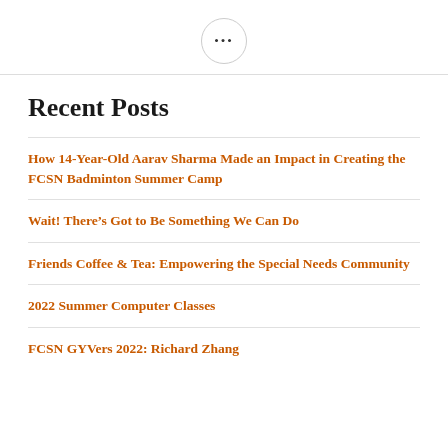[Figure (other): A small circle button with three dots (ellipsis) centered at the top of the page]
Recent Posts
How 14-Year-Old Aarav Sharma Made an Impact in Creating the FCSN Badminton Summer Camp
Wait! There’s Got to Be Something We Can Do
Friends Coffee & Tea: Empowering the Special Needs Community
2022 Summer Computer Classes
FCSN GYVers 2022: Richard Zhang